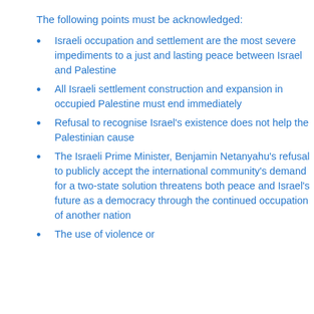The following points must be acknowledged:
Israeli occupation and settlement are the most severe impediments to a just and lasting peace between Israel and Palestine
All Israeli settlement construction and expansion in occupied Palestine must end immediately
Refusal to recognise Israel's existence does not help the Palestinian cause
The Israeli Prime Minister, Benjamin Netanyahu's refusal to publicly accept the international community's demand for a two-state solution threatens both peace and Israel's future as a democracy through the continued occupation of another nation
The use of violence or